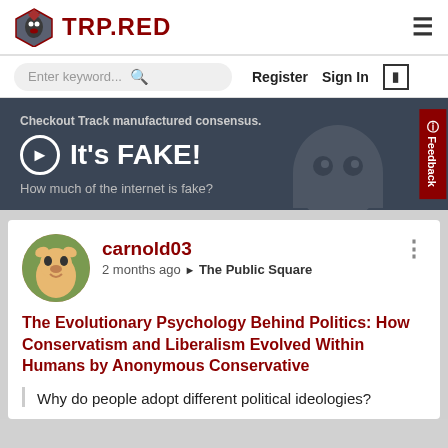TRP.RED
Enter keyword... Register Sign In
[Figure (infographic): Dark grey banner advertising 'Track manufactured consensus. It's FAKE! How much of the internet is fake?' with a ghost/monster icon and a red Feedback tab on the right side.]
carnold03
2 months ago ▶ The Public Square
The Evolutionary Psychology Behind Politics: How Conservatism and Liberalism Evolved Within Humans by Anonymous Conservative
Why do people adopt different political ideologies?